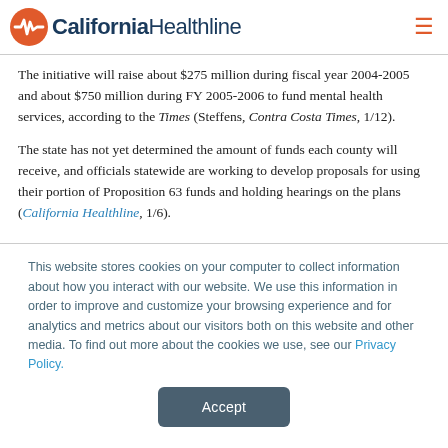California Healthline
The initiative will raise about $275 million during fiscal year 2004-2005 and about $750 million during FY 2005-2006 to fund mental health services, according to the Times (Steffens, Contra Costa Times, 1/12).
The state has not yet determined the amount of funds each county will receive, and officials statewide are working to develop proposals for using their portion of Proposition 63 funds and holding hearings on the plans (California Healthline, 1/6).
This website stores cookies on your computer to collect information about how you interact with our website. We use this information in order to improve and customize your browsing experience and for analytics and metrics about our visitors both on this website and other media. To find out more about the cookies we use, see our Privacy Policy.
Accept